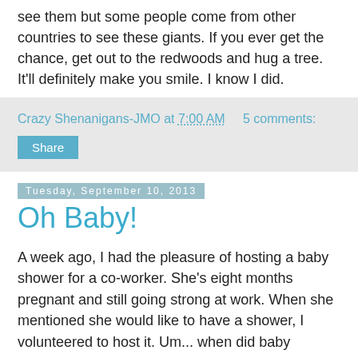see them but some people come from other countries to see these giants. If you ever get the chance, get out to the redwoods and hug a tree. It'll definitely make you smile. I know I did.
Crazy Shenanigans-JMO at 7:00 AM   5 comments:
Share
Tuesday, September 10, 2013
Oh Baby!
A week ago, I had the pleasure of hosting a baby shower for a co-worker. She's eight months pregnant and still going strong at work. When she mentioned she would like to have a shower, I volunteered to host it. Um... when did baby showers get so complicated? The mother to be had only one request... the shower have a pink/white theme. Fitting since she's having a baby girl!
First up the thing everyone goes to a baby shower for... cake.
[Figure (photo): Photo of a baby shower cake or decoration with colorful flowers/bow, partially visible at bottom of page]